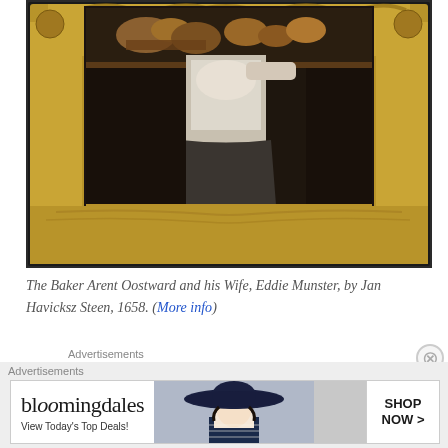[Figure (photo): Photograph of a framed painting on a dark gallery wall. The painting shows a woman in historical dress (white blouse, dark skirt) reaching toward a shelf with bread and food items. The painting is encased in an elaborate ornate gilded baroque frame with carved acanthus leaf and shell motifs.]
The Baker Arent Oostward and his Wife, Eddie Munster, by Jan Havicksz Steen, 1658. (More info)
Advertisements
Advertisements
[Figure (other): Bloomingdales advertisement banner. Left side shows 'bloomingdales' logo text and tagline 'View Today's Top Deals!'. Center shows a photo of a woman in a navy wide-brim hat. Right side shows a button reading 'SHOP NOW >'.]